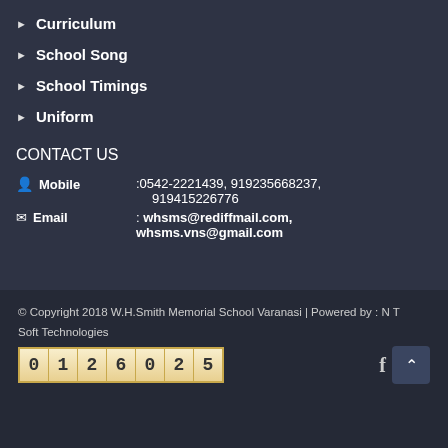Curriculum
School Song
School Timings
Uniform
CONTACT US
Mobile :0542-2221439, 919235668237, 919415226776
Email : whsms@rediffmail.com, whsms.vns@gmail.com
© Copyright 2018 W.H.Smith Memorial School Varanasi | Powered by : N T Soft Technologies
0 1 2 6 0 2 5